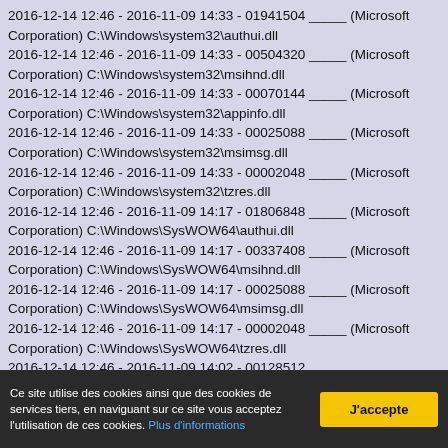2016-12-14 12:46 - 2016-11-09 14:33 - 01941504 _____ (Microsoft Corporation) C:\Windows\system32\authui.dll
2016-12-14 12:46 - 2016-11-09 14:33 - 00504320 _____ (Microsoft Corporation) C:\Windows\system32\msihnd.dll
2016-12-14 12:46 - 2016-11-09 14:33 - 00070144 _____ (Microsoft Corporation) C:\Windows\system32\appinfo.dll
2016-12-14 12:46 - 2016-11-09 14:33 - 00025088 _____ (Microsoft Corporation) C:\Windows\system32\msimsg.dll
2016-12-14 12:46 - 2016-11-09 14:33 - 00002048 _____ (Microsoft Corporation) C:\Windows\system32\tzres.dll
2016-12-14 12:46 - 2016-11-09 14:17 - 01806848 _____ (Microsoft Corporation) C:\Windows\SysWOW64\authui.dll
2016-12-14 12:46 - 2016-11-09 14:17 - 00337408 _____ (Microsoft Corporation) C:\Windows\SysWOW64\msihnd.dll
2016-12-14 12:46 - 2016-11-09 14:17 - 00025088 _____ (Microsoft Corporation) C:\Windows\SysWOW64\msimsg.dll
2016-12-14 12:46 - 2016-11-09 14:17 - 00002048 _____ (Microsoft Corporation) C:\Windows\SysWOW64\tzres.dll
2016-12-14 12:46 - 2016-11-09 14:02 - 00128512 _____ (Microsoft Corporation) C:\Windows\...
Ce site utilise des cookies ainsi que des cookies de services tiers, en naviguant sur ce site vous acceptez l'utilisation de ces cookies. Plus d'informations